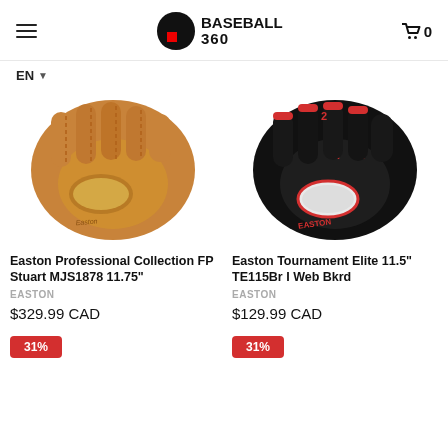Baseball 360 — EN — Cart 0
[Figure (photo): Easton brown/tan leather baseball glove shown from palm side]
Easton Professional Collection FP Stuart MJS1878 11.75"
EASTON
$329.99 CAD
[Figure (photo): Easton black and red baseball glove shown from palm side]
Easton Tournament Elite 11.5" TE115Br I Web Bkrd
EASTON
$129.99 CAD
31%
31%